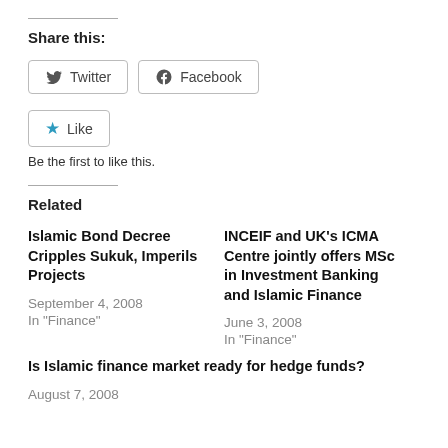Share this:
[Figure (other): Twitter and Facebook share buttons, and a Like button with star icon]
Be the first to like this.
Related
Islamic Bond Decree Cripples Sukuk, Imperils Projects
September 4, 2008
In "Finance"
INCEIF and UK’s ICMA Centre jointly offers MSc in Investment Banking and Islamic Finance
June 3, 2008
In "Finance"
Is Islamic finance market ready for hedge funds?
August 7, 2008